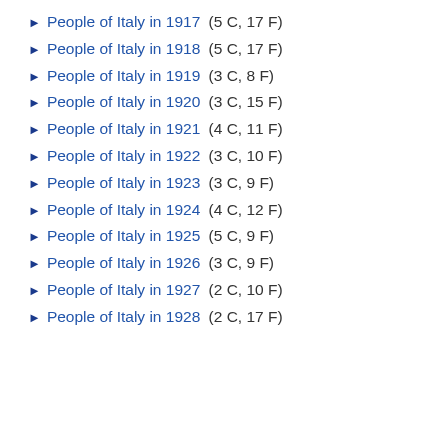► People of Italy in 1917 (5 C, 17 F)
► People of Italy in 1918 (5 C, 17 F)
► People of Italy in 1919 (3 C, 8 F)
► People of Italy in 1920 (3 C, 15 F)
► People of Italy in 1921 (4 C, 11 F)
► People of Italy in 1922 (3 C, 10 F)
► People of Italy in 1923 (3 C, 9 F)
► People of Italy in 1924 (4 C, 12 F)
► People of Italy in 1925 (5 C, 9 F)
► People of Italy in 1926 (3 C, 9 F)
► People of Italy in 1927 (2 C, 10 F)
► People of Italy in 1928 (2 C, 17 F)